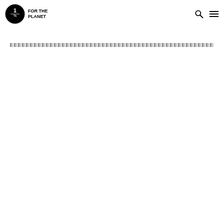[Figure (logo): 1% for the Planet logo — black circle with '1%' inside and 'FOR THE PLANET' text to the right]
[Figure (other): Navigation bar with search icon and hamburger menu icon on the right side of the header]
[Figure (other): A horizontal navigation/image strip spanning the width, showing thumbnails or a blurred banner image row]